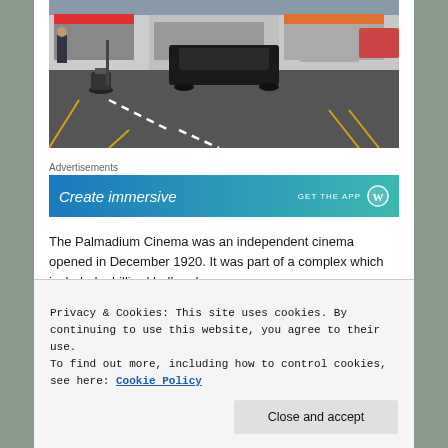[Figure (photo): Street scene showing a road with cars and a motorcycle parked on the left, shops in the background, taken from an elevated angle]
Advertisements
[Figure (screenshot): Advertisement banner with blue-green gradient background showing 'Create immersive' text and 'GET THE APP' with WordPress logo]
The Palmadium Cinema was an independent cinema opened in December 1920. It was part of a complex which included a billiard hall and...
Privacy & Cookies: This site uses cookies. By continuing to use this website, you agree to their use.
To find out more, including how to control cookies, see here: Cookie Policy